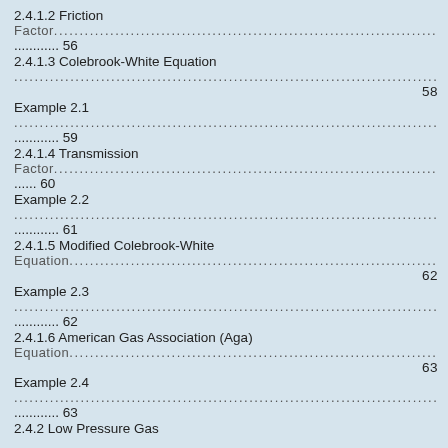2.4.1.2 Friction Factor...........56
2.4.1.3 Colebrook-White Equation...58
Example 2.1...59
2.4.1.4 Transmission Factor.....60
Example 2.2...61
2.4.1.5 Modified Colebrook-White Equation...62
Example 2.3...62
2.4.1.6 American Gas Association (Aga) Equation...63
Example 2.4...63
2.4.2 Low Pressure Gas